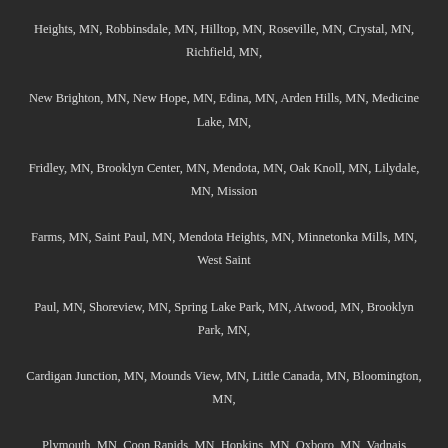Heights, MN, Robbinsdale, MN, Hilltop, MN, Roseville, MN, Crystal, MN, Richfield, MN, New Brighton, MN, New Hope, MN, Edina, MN, Arden Hills, MN, Medicine Lake, MN, Fridley, MN, Brooklyn Center, MN, Mendota, MN, Oak Knoll, MN, Lilydale, MN, Mission Farms, MN, Saint Paul, MN, Mendota Heights, MN, Minnetonka Mills, MN, West Saint Paul, MN, Shoreview, MN, Spring Lake Park, MN, Atwood, MN, Brooklyn Park, MN, Cardigan Junction, MN, Mounds View, MN, Little Canada, MN, Bloomington, MN, Plymouth, MN, Coon Rapids, MN, Hopkins, MN, Oxboro, MN, Vadnais Heights, MN, Nicols, MN, Gloster, MN, Sunfish Lake, MN, Groveland, MN, Glen Lake, MN, Rowland, MN, Maple Grove, MN, Oak Terrace, MN, Gladstone, MN, Wayzata, MN, Woodland, MN, Osseo, MN, Coon Creek, MN, Orchard Garden, MN, Roseport, MN, Pine Bend, MN, Andover, MN, Rosemount, MN, Shakopee, MN, Spring Park, MN, Dupont, MN, Hugo, MN, Leighton, MN, Saga Hill, MN, Island Park, MN, Cottage Grove, MN, Grant, MN, Loretto, MN, Ham Lake, MN, Lake Elmo, MN, Fletcher, MN, Hazeltine, MN, Duluth Junction, MN, Deer Park, MN, Maple Plain, MN, Constance, MN, Rich Valley, MN, Argonne, MN, Grainwood, MN, Prior Lake, MN, Mound, MN, Weston, MN, Langdon, MN,